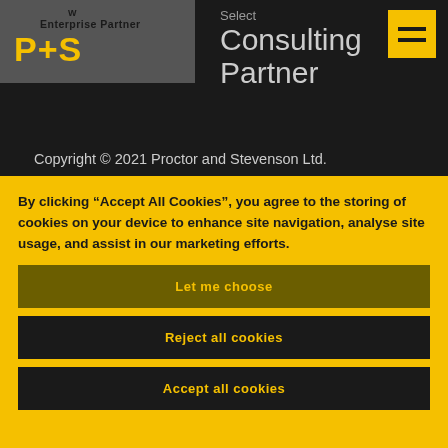[Figure (logo): P+S logo in yellow with W superscript, alongside 'Enterprise Partner' label on grey background, and 'Select Consulting Partner' text in grey, plus yellow hamburger menu icon]
Copyright © 2021 Proctor and Stevenson Ltd. Registered in England & Wales No. 2572010. ISO 27001 accredited.
By clicking “Accept All Cookies”, you agree to the storing of cookies on your device to enhance site navigation, analyse site usage, and assist in our marketing efforts.
Let me choose
Reject all cookies
Accept all cookies